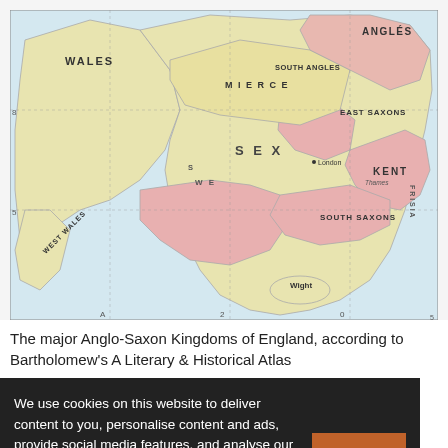[Figure (map): Historical map of the major Anglo-Saxon Kingdoms of England, showing regions including Wales, West Wales, Mercia, South Angles, East Saxons, Kent, South Saxons, Angles, and Frisia, with place names and geographic features. Based on Bartholomew's A Literary & Historical Atlas.]
The major Anglo-Saxon Kingdoms of England, according to Bartholomew's A Literary & Historical Atlas
We use cookies on this website to deliver content to you, personalise content and ads, provide social media features, and analyse our traffic. Click 'I accept' to consent to the use of cookies. More information on cookies and how to manage them click here